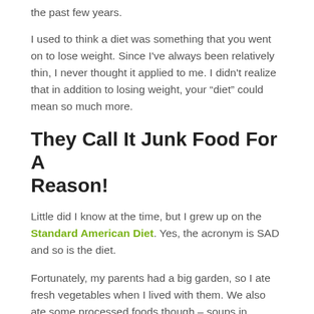the past few years.
I used to think a diet was something that you went on to lose weight. Since I've always been relatively thin, I never thought it applied to me. I didn't realize that in addition to losing weight, your “diet” could mean so much more.
They Call It Junk Food For A Reason!
Little did I know at the time, but I grew up on the Standard American Diet. Yes, the acronym is SAD and so is the diet.
Fortunately, my parents had a big garden, so I ate fresh vegetables when I lived with them. We also ate some processed foods though – soups in casseroles, enriched